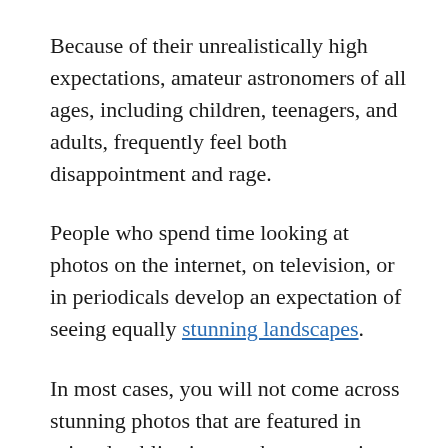Because of their unrealistically high expectations, amateur astronomers of all ages, including children, teenagers, and adults, frequently feel both disappointment and rage.
People who spend time looking at photos on the internet, on television, or in periodicals develop an expectation of seeing equally stunning landscapes.
In most cases, you will not come across stunning photos that are featured in printed publications such as magazines.
The vast majority of photographs that appear in books were captured either by incredibly big